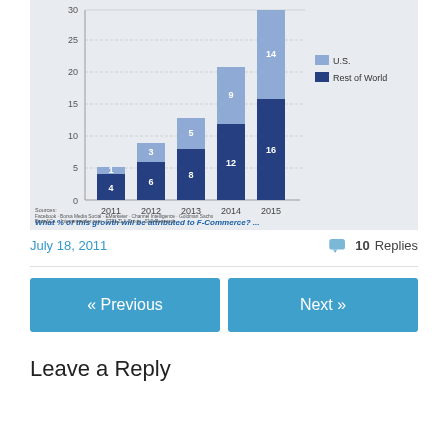[Figure (stacked-bar-chart): Social commerce revenue ($B) — What % of this growth will be attributed to F-Commerce?]
July 18, 2011
10 Replies
« Previous
Next »
Leave a Reply